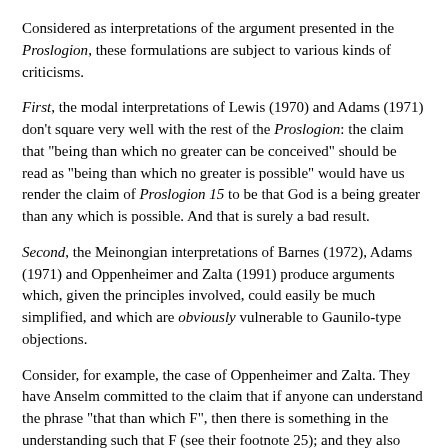Considered as interpretations of the argument presented in the Proslogion, these formulations are subject to various kinds of criticisms.
First, the modal interpretations of Lewis (1970) and Adams (1971) don't square very well with the rest of the Proslogion: the claim that "being than which no greater can be conceived" should be read as "being than which no greater is possible" would have us render the claim of Proslogion 15 to be that God is a being greater than any which is possible. And that is surely a bad result.
Second, the Meinongian interpretations of Barnes (1972), Adams (1971) and Oppenheimer and Zalta (1991) produce arguments which, given the principles involved, could easily be much simplified, and which are obviously vulnerable to Gaunilo-type objections.
Consider, for example, the case of Oppenheimer and Zalta. They have Anselm committed to the claim that if anyone can understand the phrase "that than which F", then there is something in the understanding such that F (see their footnote 25); and they also have him committed to the claim that if there is something which is the F-thing, then it -- i.e., the F-thing -- has the property F (see page 7). Plainly though, if Anselm is really committed to these principles, then he could hardly fail to be committed to the more